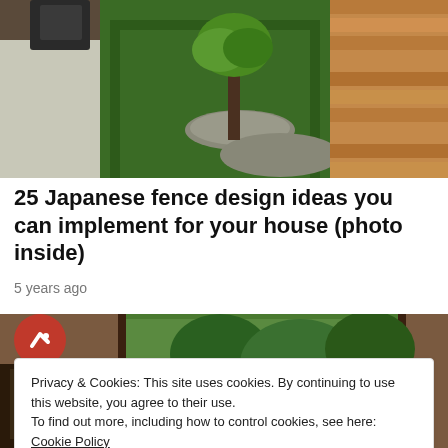[Figure (photo): Japanese garden with green grass strip, a tree with stones around its base, concrete walkway on left, horizontal wooden fence panels on right]
25 Japanese fence design ideas you can implement for your house (photo inside)
5 years ago
[Figure (photo): Interior room with large window showing green trees outside, dark wood window frame, partial view of furniture; Buzzfeed red circular badge with arrow icon in top-left corner]
Privacy & Cookies: This site uses cookies. By continuing to use this website, you agree to their use.
To find out more, including how to control cookies, see here: Cookie Policy
Close and accept